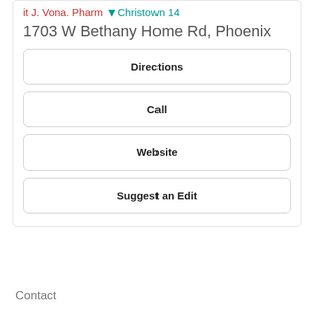it J. Vona. Pharm  Christown 14
1703 W Bethany Home Rd, Phoenix
Directions
Call
Website
Suggest an Edit
Contact